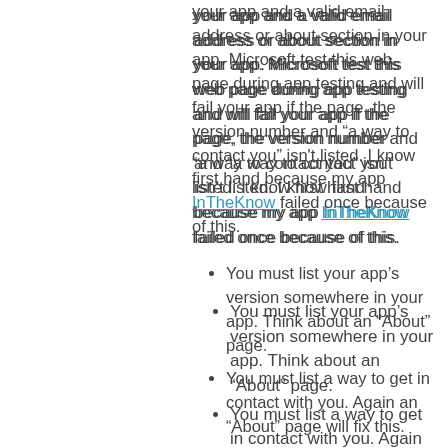your app and a valid email address or about section in your app. Microsoft test this web page during app testing and will fail your app if the page, the version number and “a way to contact you” isn't listed. I know first hand because my app InTheKnow failed once because of this.
You must list your app’s version somewhere in your app. Think about an “About” page.
You must list a way to get in contact with you. Again an “About” page will fix this.
The venerable Jeff Wilcox has written a great about page helper blog post  to get you started.
App Description
Start thinking about how to describe your app in the Store. Keep it simple and to the point. Metro guru Shane Morris talked about defining your app’s “best app statement” at #appfest, and this